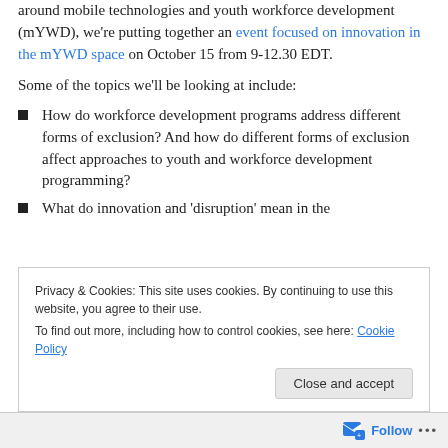around mobile technologies and youth workforce development (mYWD), we're putting together an event focused on innovation in the mYWD space on October 15 from 9-12.30 EDT.
Some of the topics we'll be looking at include:
How do workforce development programs address different forms of exclusion? And how do different forms of exclusion affect approaches to youth and workforce development programming?
What do innovation and 'disruption' mean in the
Privacy & Cookies: This site uses cookies. By continuing to use this website, you agree to their use.
To find out more, including how to control cookies, see here: Cookie Policy
Follow ...